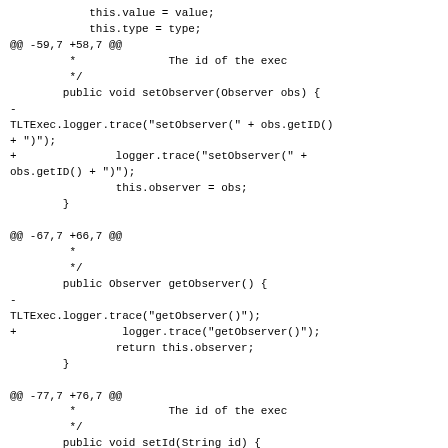this.value = value;
            this.type = type;
@@ -59,7 +58,7 @@
         *              The id of the exec
         */
        public void setObserver(Observer obs) {
-
TLTExec.logger.trace("setObserver(" + obs.getID()
+ ")");
+               logger.trace("setObserver(" +
obs.getID() + ")");
                this.observer = obs;
        }

@@ -67,7 +66,7 @@
         *
         */
        public Observer getObserver() {
-
TLTExec.logger.trace("getObserver()");
+                logger.trace("getObserver()");
                return this.observer;
        }

@@ -77,7 +76,7 @@
         *              The id of the exec
         */
        public void setId(String id) {
-               TLTExec.logger.trace("setId(" + id